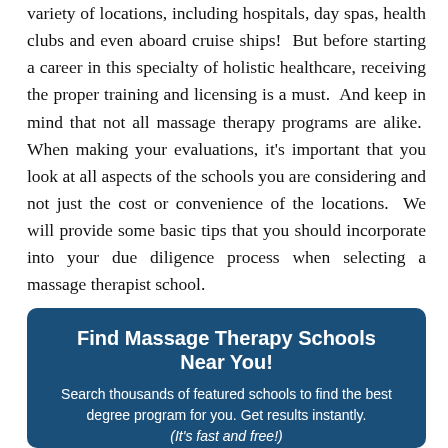variety of locations, including hospitals, day spas, health clubs and even aboard cruise ships!  But before starting a career in this specialty of holistic healthcare, receiving the proper training and licensing is a must.  And keep in mind that not all massage therapy programs are alike.  When making your evaluations, it's important that you look at all aspects of the schools you are considering and not just the cost or convenience of the locations.  We will provide some basic tips that you should incorporate into your due diligence process when selecting a massage therapist school.
[Figure (infographic): Dark blue rounded box with white text heading 'Find Massage Therapy Schools Near You!', subtitle 'Search thousands of featured schools to find the best degree program for you. Get results instantly. (It's fast and free!)', and a step indicator with 4 circles connected by lines, the first circle filled green.]